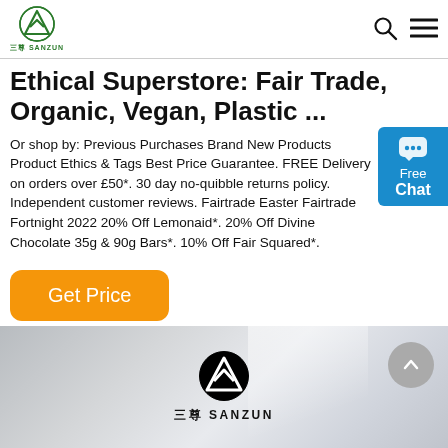三尊 SANZUN [logo] [search icon] [menu icon]
Ethical Superstore: Fair Trade, Organic, Vegan, Plastic ...
Or shop by: Previous Purchases Brand New Products Product Ethics & Tags Best Price Guarantee. FREE Delivery on orders over £50*. 30 day no-quibble returns policy. Independent customer reviews. Fairtrade Easter Fairtrade Fortnight 2022 20% Off Lemonaid*. 20% Off Divine Chocolate 35g & 90g Bars*. 10% Off Fair Squared*.
[Figure (other): Blue chat widget with speech bubble icon, 'Free Chat' label]
[Figure (other): Orange 'Get Price' button]
[Figure (logo): Sanzun logo on silver/grey gradient banner with 三尊 SANZUN text and scroll-to-top button]